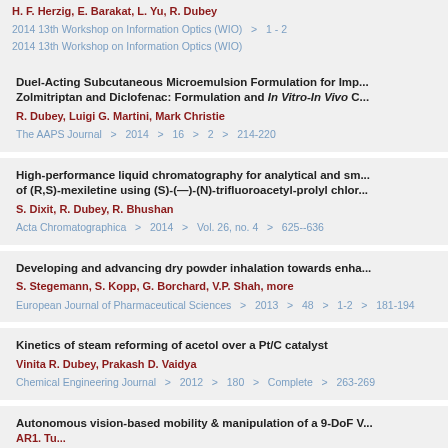H. F. Herzig, E. Barakat, L. Yu, R. Dubey | 2014 13th Workshop on Information Optics (WIO) > 1-2 | 2014 13th Workshop on Information Optics (WIO)
Duel-Acting Subcutaneous Microemulsion Formulation for Imp... Zolmitriptan and Diclofenac: Formulation and In Vitro-In Vivo C... | R. Dubey, Luigi G. Martini, Mark Christie | The AAPS Journal > 2014 > 16 > 2 > 214-220
High-performance liquid chromatography for analytical and sm... of (R,S)-mexiletine using (S)-(—)-(N)-trifluoroacetyl-prolyl chlor... | S. Dixit, R. Dubey, R. Bhushan | Acta Chromatographica > 2014 > Vol. 26, no. 4 > 625--636
Developing and advancing dry powder inhalation towards enha... | S. Stegemann, S. Kopp, G. Borchard, V.P. Shah, more | European Journal of Pharmaceutical Sciences > 2013 > 48 > 1-2 > 181-194
Kinetics of steam reforming of acetol over a Pt/C catalyst | Vinita R. Dubey, Prakash D. Vaidya | Chemical Engineering Journal > 2012 > 180 > Complete > 263-269
Autonomous vision-based mobility & manipulation of a 9-DoF V...